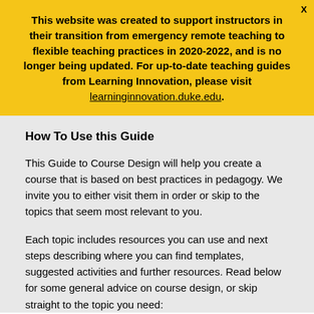This website was created to support instructors in their transition from emergency remote teaching to flexible teaching practices in 2020-2022, and is no longer being updated. For up-to-date teaching guides from Learning Innovation, please visit learninginnovation.duke.edu.
How To Use this Guide
This Guide to Course Design will help you create a course that is based on best practices in pedagogy. We invite you to either visit them in order or skip to the topics that seem most relevant to you.
Each topic includes resources you can use and next steps describing where you can find templates, suggested activities and further resources. Read below for some general advice on course design, or skip straight to the topic you need: